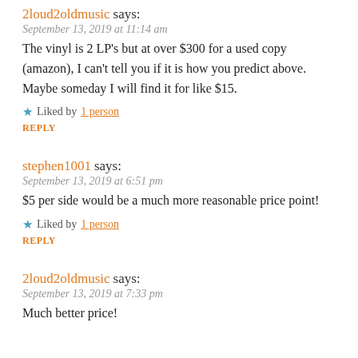2loud2oldmusic says:
September 13, 2019 at 11:14 am
The vinyl is 2 LP's but at over $300 for a used copy (amazon), I can't tell you if it is how you predict above. Maybe someday I will find it for like $15.
Liked by 1 person
REPLY
stephen1001 says:
September 13, 2019 at 6:51 pm
$5 per side would be a much more reasonable price point!
Liked by 1 person
REPLY
2loud2oldmusic says:
September 13, 2019 at 7:33 pm
Much better price!